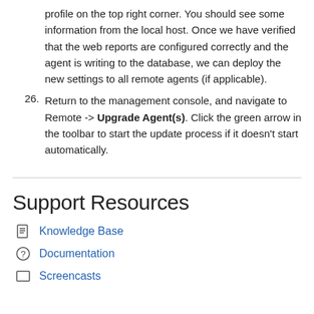profile on the top right corner. You should see some information from the local host. Once we have verified that the web reports are configured correctly and the agent is writing to the database, we can deploy the new settings to all remote agents (if applicable).
26. Return to the management console, and navigate to Remote -> Upgrade Agent(s). Click the green arrow in the toolbar to start the update process if it doesn't start automatically.
Support Resources
Knowledge Base
Documentation
Screencasts